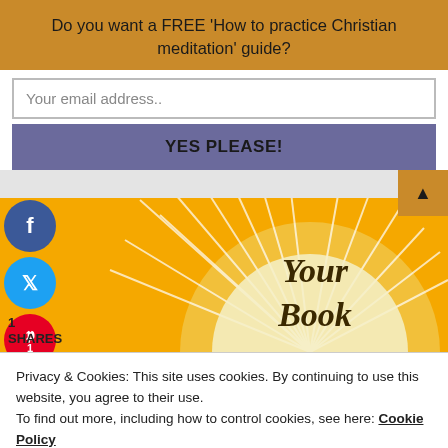Do you want a FREE 'How to practice Christian meditation' guide?
Your email address..
YES PLEASE!
[Figure (illustration): Book cover image with sun rays design on yellow/amber background, showing text 'Your Book' in dark bold font on a cream circular sun shape with radiating white lines, social share buttons (Facebook, Twitter, Pinterest) on the left side, showing '1 SHARES']
Privacy & Cookies: This site uses cookies. By continuing to use this website, you agree to their use.
To find out more, including how to control cookies, see here: Cookie Policy
Close and accept